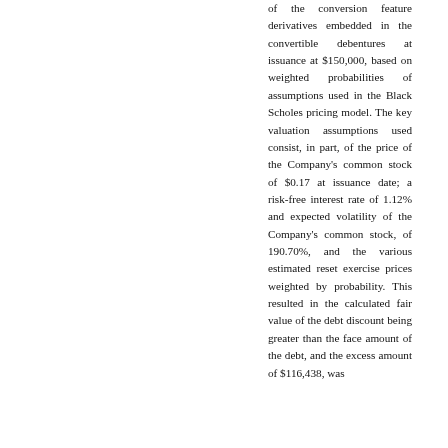of the conversion feature derivatives embedded in the convertible debentures at issuance at $150,000, based on weighted probabilities of assumptions used in the Black Scholes pricing model. The key valuation assumptions used consist, in part, of the price of the Company's common stock of $0.17 at issuance date; a risk-free interest rate of 1.12% and expected volatility of the Company's common stock, of 190.70%, and the various estimated reset exercise prices weighted by probability. This resulted in the calculated fair value of the debt discount being greater than the face amount of the debt, and the excess amount of $116,438, was